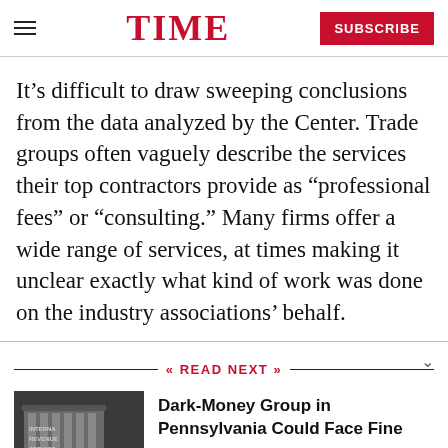TIME | SUBSCRIBE
It’s difficult to draw sweeping conclusions from the data analyzed by the Center. Trade groups often vaguely describe the services their top contractors provide as “professional fees” or “consulting.” Many firms offer a wide range of services, at times making it unclear exactly what kind of work was done on the industry associations’ behalf.
READ NEXT
Dark-Money Group in Pennsylvania Could Face Fine